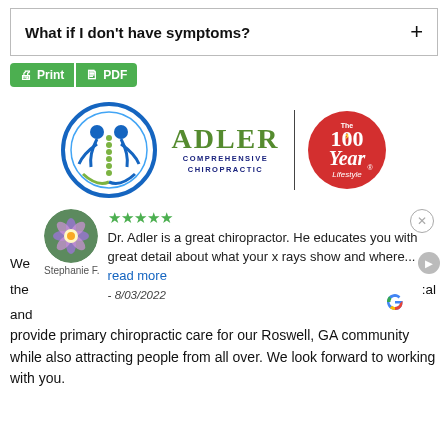What if I don't have symptoms?
[Figure (logo): Print and PDF buttons (green)]
[Figure (logo): Adler Comprehensive Chiropractic logo with circular chiropractic emblem, ADLER COMPREHENSIVE CHIROPRACTIC text, vertical divider, and The 100 Year Lifestyle badge]
[Figure (screenshot): Google review card: 5 stars, reviewer Stephanie F. with flower avatar, text 'Dr. Adler is a great chiropractor. He educates you with great detail about what your x rays show and where... read more - 8/03/2022', Google G logo]
provide primary chiropractic care for our Roswell, GA community while also attracting people from all over. We look forward to working with you.